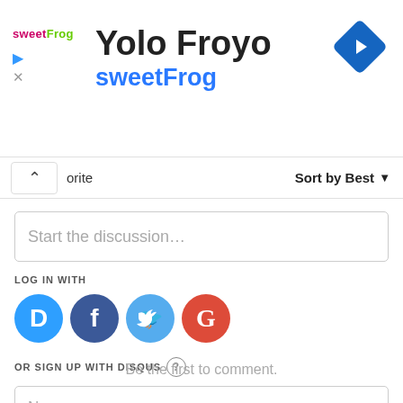Yolo Froyo — sweetFrog
Sort by Best
Start the discussion…
LOG IN WITH
[Figure (logo): Social login icons: Disqus (blue speech bubble with D), Facebook (dark blue circle with f), Twitter (light blue circle with bird), Google (red circle with G)]
OR SIGN UP WITH DISQUS
Name
Be the first to comment.